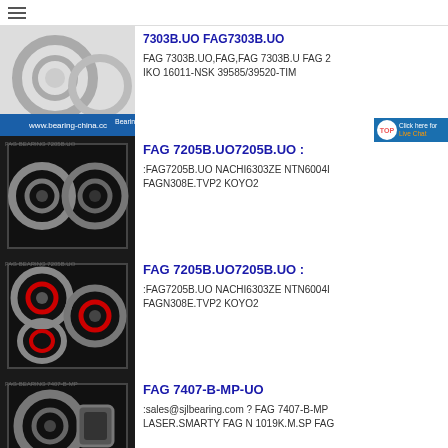[Figure (screenshot): Top navigation bar with hamburger menu icon]
[Figure (photo): Bearing product image for FAG 7303B.UO]
7303B.UO FAG7303B.UO
FAG 7303B.UO,FAG,FAG 7303B.U FAG 2 IKO 16011-NSK 39585/39520-TIM
[Figure (photo): Bearing product image for FAG 7205B.UO7205B.UO (first)]
FAG 7205B.UO7205B.UO :
:FAG7205B.UO NACHI6303ZE NTN6004I FAGN308E.TVP2 KOYO2
[Figure (photo): Bearing product image for FAG 7205B.UO7205B.UO (second, red seals)]
FAG 7205B.UO7205B.UO :
:FAG7205B.UO NACHI6303ZE NTN6004I FAGN308E.TVP2 KOYO2
[Figure (photo): Bearing product image for FAG 7407-B-MP-UO]
FAG 7407-B-MP-UO
:sales@sjlbearing.com ? FAG 7407-B-MP LASER.SMARTY FAG N 1019K.M.SP FAQ